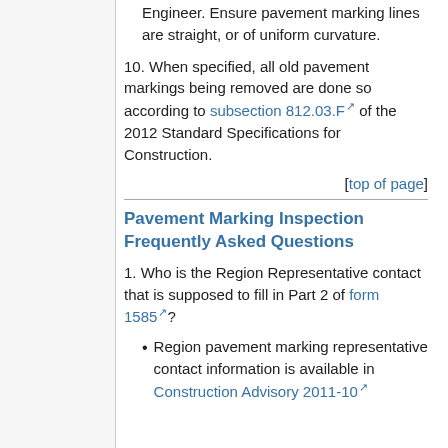Engineer. Ensure pavement marking lines are straight, or of uniform curvature.
10. When specified, all old pavement markings being removed are done so according to subsection 812.03.F of the 2012 Standard Specifications for Construction.
[top of page]
Pavement Marking Inspection Frequently Asked Questions
1. Who is the Region Representative contact that is supposed to fill in Part 2 of form 1585?
Region pavement marking representative contact information is available in Construction Advisory 2011-10